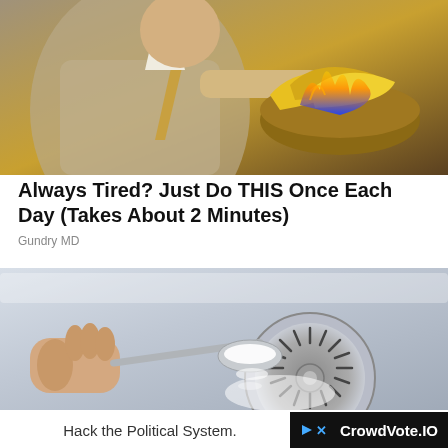[Figure (photo): A man in a suit pointing at a bowl of bananas on fire with blue flames]
Always Tired? Just Do THIS Once Each Day (Takes About 2 Minutes)
Gundry MD
[Figure (photo): A hand holding a spoon with white powder over a stainless steel sink drain]
Hack the Political System. CrowdVote.IO